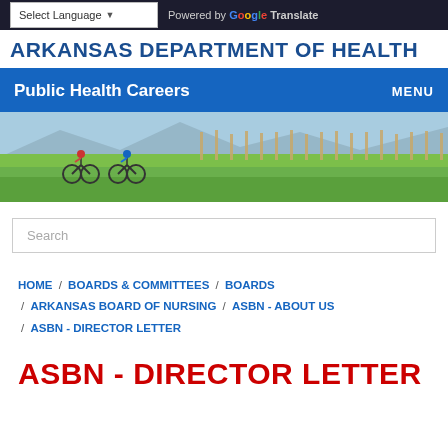Select Language | Powered by Google Translate
ARKANSAS DEPARTMENT OF HEALTH
Public Health Careers   MENU
[Figure (photo): Two cyclists riding bicycles on a path through a green field with trees in the background and mountains in the distance]
Search
HOME / BOARDS & COMMITTEES / BOARDS / ARKANSAS BOARD OF NURSING / ASBN - ABOUT US / ASBN - DIRECTOR LETTER
ASBN - DIRECTOR LETTER